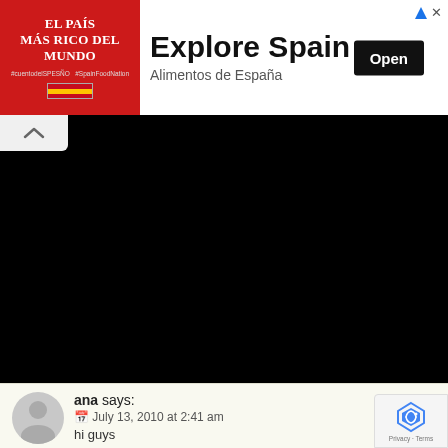[Figure (infographic): Advertisement banner for 'Explore Spain' / Alimentos de España. Left side has red background with white text 'EL PAÍS MÁS RICO DEL MUNDO' and Spanish flag. Right side shows 'Explore Spain' headline, 'Alimentos de España' subtext, and a black 'Open' button.]
[Figure (photo): Large black rectangle representing a video player area with a light grey tab at top-left containing an upward chevron (collapse arrow).]
ana says:
📅 July 13, 2010 at 2:41 am

hi guys